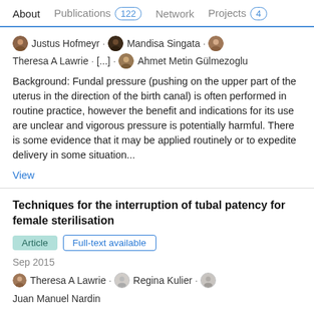About  Publications 122  Network  Projects 4
Justus Hofmeyr · Mandisa Singata · Theresa A Lawrie · [...] · Ahmet Metin Gülmezoglu
Background: Fundal pressure (pushing on the upper part of the uterus in the direction of the birth canal) is often performed in routine practice, however the benefit and indications for its use are unclear and vigorous pressure is potentially harmful. There is some evidence that it may be applied routinely or to expedite delivery in some situation...
View
Techniques for the interruption of tubal patency for female sterilisation
Article  Full-text available
Sep 2015
Theresa A Lawrie · Regina Kulier · Juan Manuel Nardin
Background: This is an update of a review that was first published in 2002. Female sterilisation is the most...